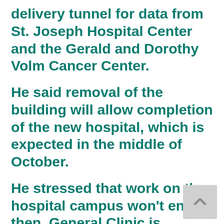delivery tunnel for data from St. Joseph Hospital Center and the Gerald and Dorothy Volm Cancer Center.
He said removal of the building will allow completion of the new hospital, which is expected in the middle of October.
He stressed that work on the hospital campus won't end then. General Clinic is planning an addition to its complex and won't be completed until July,